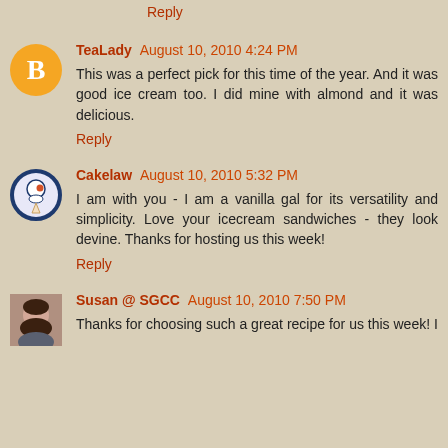Reply
TeaLady August 10, 2010 4:24 PM
This was a perfect pick for this time of the year. And it was good ice cream too. I did mine with almond and it was delicious.
Reply
Cakelaw August 10, 2010 5:32 PM
I am with you - I am a vanilla gal for its versatility and simplicity. Love your icecream sandwiches - they look devine. Thanks for hosting us this week!
Reply
Susan @ SGCC August 10, 2010 7:50 PM
Thanks for choosing such a great recipe for us this week! I